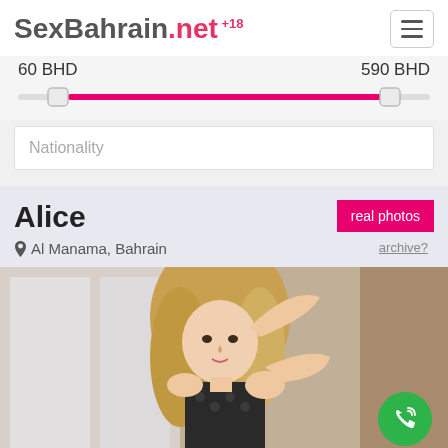SexBahrain.net +18
60 BHD   590 BHD
[Figure (other): Price range slider with pink fill between 60 BHD and 590 BHD handles]
Nationality
Alice
Al Manama, Bahrain
real photos
archive?
[Figure (photo): Photo of a young woman with long blonde hair posing with hand raised to her head, wearing a dark patterned top, background shows windows and curtains. Green phone call button in bottom right.]